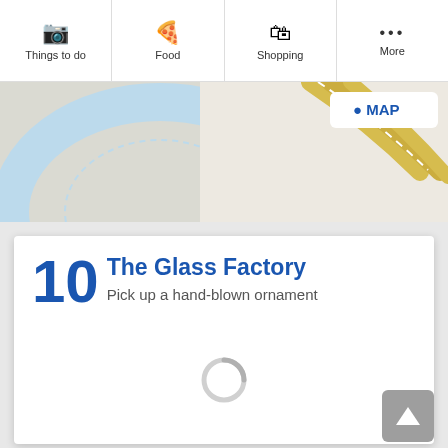Things to do | Food | Shopping | More
[Figure (map): Partial map view showing roads and highlighted route in yellow/gold, with light blue circular road overlay]
10 The Glass Factory
Pick up a hand-blown ornament
[Figure (other): Loading spinner (circular gray indicator)]